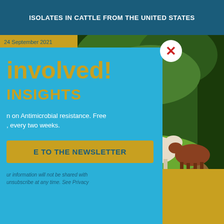ISOLATES IN CATTLE FROM THE UNITED STATES
24 September 2021
[Figure (photo): Photograph of cattle grazing in a green pasture with trees in the background]
involved!
INSIGHTS
n on Antimicrobial resistance. Free , every two weeks.
E TO THE NEWSLETTER
ur information will not be shared with unsubscribe at any time. See Privacy
t our website runs as smoothly as use this site, we assume that you agree to this.
Ok  Privacy policy